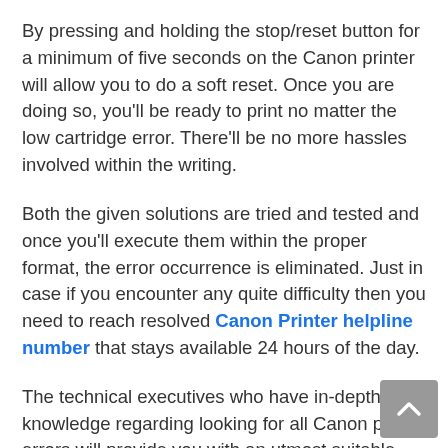By pressing and holding the stop/reset button for a minimum of five seconds on the Canon printer will allow you to do a soft reset. Once you are doing so, you'll be ready to print no matter the low cartridge error. There'll be no more hassles involved within the writing.
Both the given solutions are tried and tested and once you'll execute them within the proper format, the error occurrence is eliminated. Just in case if you encounter any quite difficulty then you need to reach resolved Canon Printer helpline number that stays available 24 hours of the day.
The technical executives who have in-depth knowledge regarding looking for all Canon printer errors will provide you with an utmost suitable solution which too within the limited